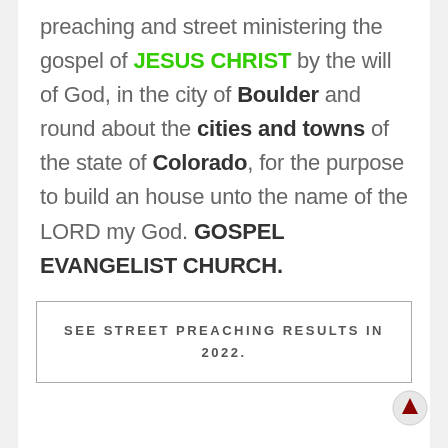preaching and street ministering the gospel of JESUS CHRIST by the will of God, in the city of Boulder and round about the cities and towns of the state of Colorado, for the purpose to build an house unto the name of the LORD my God. GOSPEL EVANGELIST CHURCH.
SEE STREET PREACHING RESULTS IN 2022.